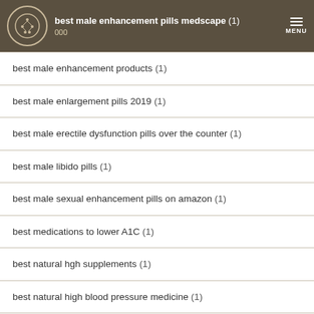best male enhancement pills medscape (1) 000
best male enhancement products (1)
best male enlargement pills 2019 (1)
best male erectile dysfunction pills over the counter (1)
best male libido pills (1)
best male sexual enhancement pills on amazon (1)
best medications to lower A1C (1)
best natural hgh supplements (1)
best natural high blood pressure medicine (1)
best natural medication for high cholesterol (1)
best natural ways to lower blood pressure (1)